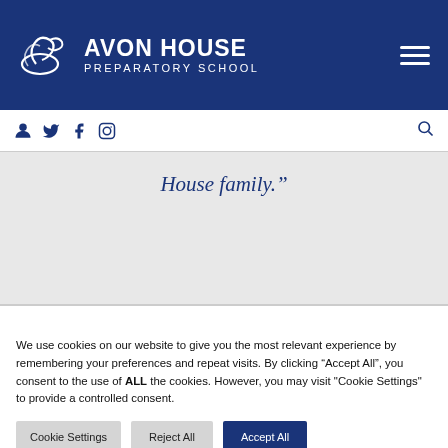AVON HOUSE PREPARATORY SCHOOL
House family.”
We use cookies on our website to give you the most relevant experience by remembering your preferences and repeat visits. By clicking “Accept All”, you consent to the use of ALL the cookies. However, you may visit "Cookie Settings" to provide a controlled consent.